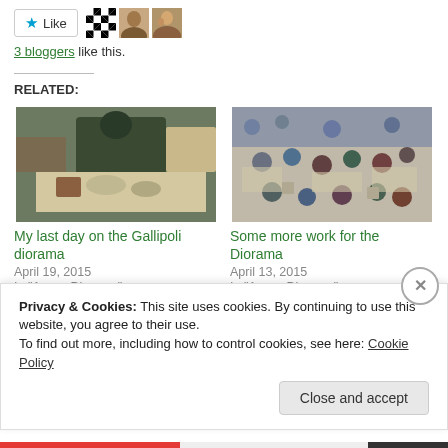[Figure (other): Like button with star icon and three avatar thumbnails (checker pattern, woman portrait, group photo)]
3 bloggers like this.
RELATED:
[Figure (photo): Photo of a person working on a diorama with miniatures on a table]
My last day on the Gallipoli diorama
April 19, 2015
In "Anzac Diorama"
[Figure (photo): Overhead photo of a group of people gathered in a large room around tables]
Some more work for the Diorama
April 13, 2015
In "Anzac Diorama"
Privacy & Cookies: This site uses cookies. By continuing to use this website, you agree to their use.
To find out more, including how to control cookies, see here: Cookie Policy
Close and accept